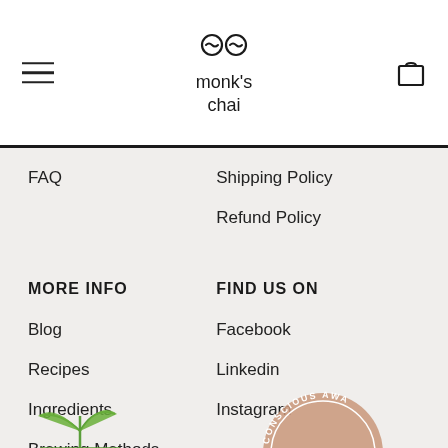[Figure (logo): Monk's Chai logo with stylized cat face icon and text 'monk's chai']
FAQ
Shipping Policy
Refund Policy
MORE INFO
FIND US ON
Blog
Facebook
Recipes
Linkedin
Ingredients
Instagram
Brewing Methods
[Figure (illustration): Partial green leaf/plant illustration at bottom left]
[Figure (illustration): Partial circular badge reading 'CONSCIOUS AWA...' at bottom right]